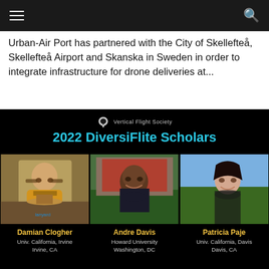≡   🔍
Urban-Air Port has partnered with the City of Skellefteå, Skellefteå Airport and Skanska in Sweden in order to integrate infrastructure for drone deliveries at...
[Figure (infographic): 2022 DiversiFlite Scholars announcement card on black background from Vertical Flight Society, showing photos and names of three scholars: Damian Clogher (Univ. California, Irvine, Irvine, CA), Andre Davis (Howard University, Washington, DC), and Patricia Paje (Univ. California, Davis, Davis, CA).]